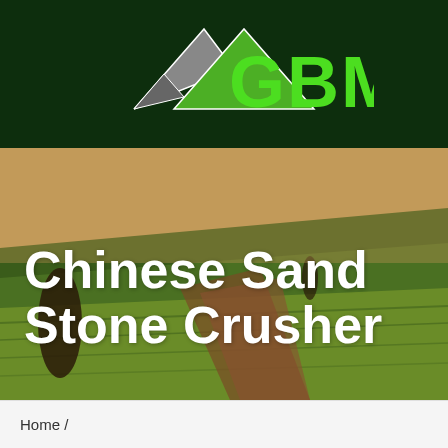[Figure (logo): GBM logo with mountain/triangle icon in dark green header bar]
[Figure (photo): Aerial photograph of agricultural fields with green and brown rolling hills, trees visible]
Chinese Sand Stone Crusher
Home /